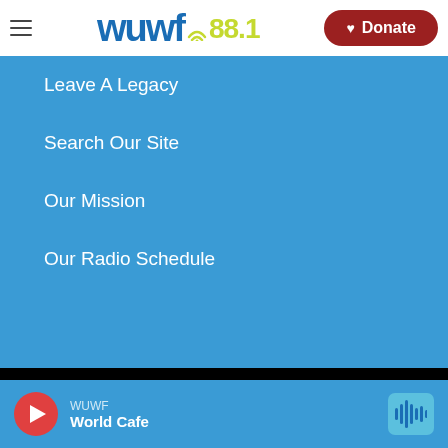WUWF 88.1 — Hamburger menu, Logo, Donate button
Leave A Legacy
Search Our Site
Our Mission
Our Radio Schedule
[Figure (logo): Six logos in a 3x2 grid on black background: UWF (University of West Florida), Florida Public Media, NPR, CPB (Corporation for Public Broadcasting), Facebook, Twitter]
WUWF — World Cafe — play button and waveform icon